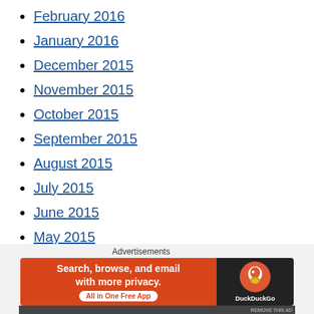February 2016
January 2016
December 2015
November 2015
October 2015
September 2015
August 2015
July 2015
June 2015
May 2015
April 2015
March 2015
February 2015
January 2015
Advertisements
[Figure (screenshot): DuckDuckGo advertisement banner: Search, browse, and email with more privacy. All in One Free App]